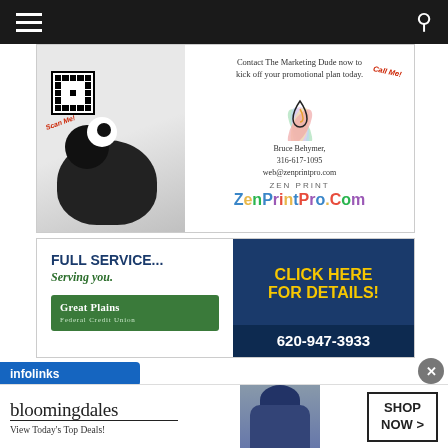Navigation bar with hamburger menu and search icon
[Figure (illustration): ZEN PRINT / ZenPrintPro.Com advertisement with panda character, QR code, lotus logo, contact info for Bruce Behymer 316-617-1095 web@zenprintpro.com]
[Figure (illustration): Great Plains Federal Credit Union advertisement. FULL SERVICE... Serving you. CLICK HERE FOR DETAILS! 620-947-3933]
[Figure (illustration): Infolinks banner and Bloomingdale's advertisement: bloomingdales View Today's Top Deals! SHOP NOW >]